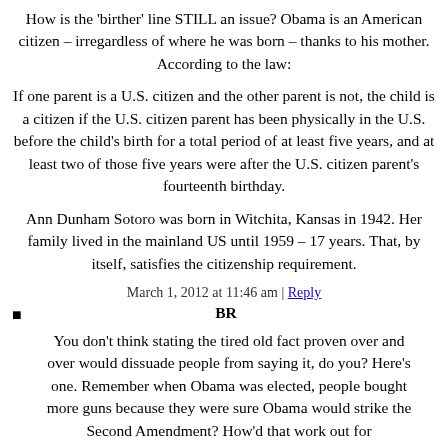How is the 'birther' line STILL an issue? Obama is an American citizen – irregardless of where he was born – thanks to his mother. According to the law:
If one parent is a U.S. citizen and the other parent is not, the child is a citizen if the U.S. citizen parent has been physically in the U.S. before the child's birth for a total period of at least five years, and at least two of those five years were after the U.S. citizen parent's fourteenth birthday.
Ann Dunham Sotoro was born in Witchita, Kansas in 1942. Her family lived in the mainland US until 1959 – 17 years. That, by itself, satisfies the citizenship requirement.
March 1, 2012 at 11:46 am | Reply
BR
You don't think stating the tired old fact proven over and over would dissuade people from saying it, do you? Here's one. Remember when Obama was elected, people bought more guns because they were sure Obama would strike the Second Amendment? How'd that work out for